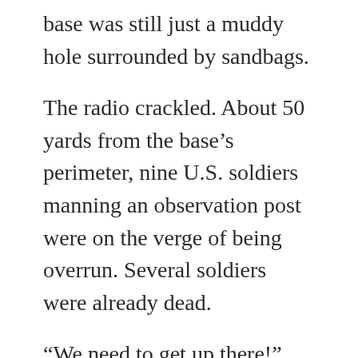base was still just a muddy hole surrounded by sandbags.
The radio crackled. About 50 yards from the base's perimeter, nine U.S. soldiers manning an observation post were on the verge of being overrun. Several soldiers were already dead.
“We need to get up there!” screamed 1st Lt. Jonathan Brostrom, the platoon leader at the main base. He and Spec. Jason Hovater grabbed as much ammunition as they could carry and someone popped a yellow smoke grenade to cover their movement. The two soldiers